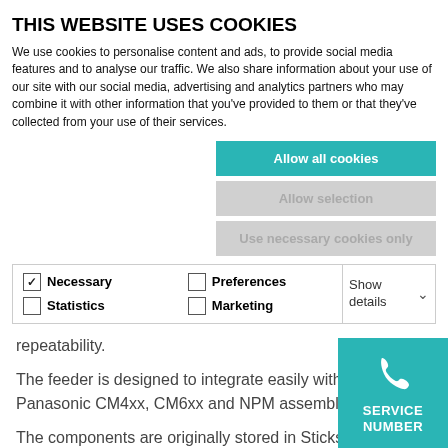THIS WEBSITE USES COOKIES
We use cookies to personalise content and ads, to provide social media features and to analyse our traffic. We also share information about your use of our site with our social media, advertising and analytics partners who may combine it with other information that you've provided to them or that they've collected from your use of their services.
Allow all cookies
Allow selection
Use necessary cookies only
| ✓ Necessary | Preferences | Show details |
| Statistics | Marketing |  |
a pick position with a high degree of accuracy and repeatability.
The feeder is designed to integrate easily with the existing Panasonic CM4xx, CM6xx and NPM assembly equipment.
The components are originally stored in Sticks, stacked in the feeder magazine. The bottom St…
SERVICE NUMBER